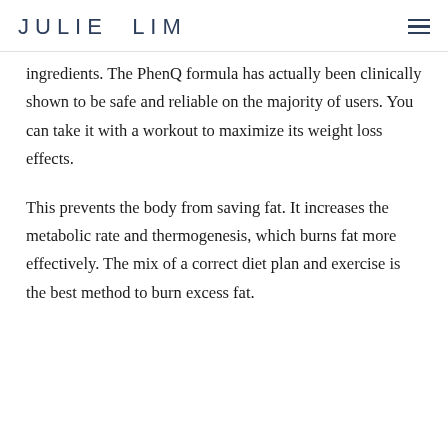JULIE LIM
ingredients. The PhenQ formula has actually been clinically shown to be safe and reliable on the majority of users. You can take it with a workout to maximize its weight loss effects.
This prevents the body from saving fat. It increases the metabolic rate and thermogenesis, which burns fat more effectively. The mix of a correct diet plan and exercise is the best method to burn excess fat.